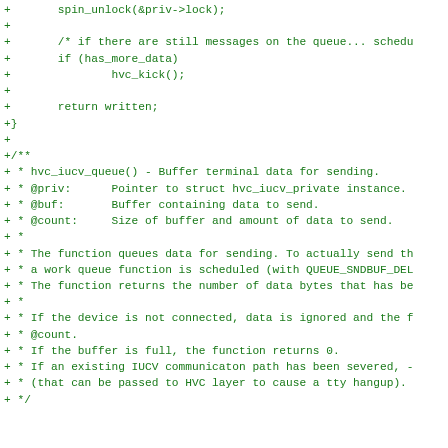Code diff showing hvc_iucv_queue() function documentation in C source code